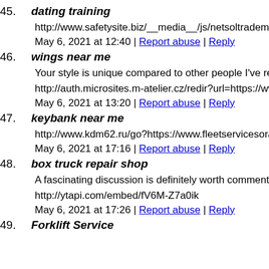45. dating training
http://www.safetysite.biz/__media__/js/netsoltrademark.php?d
May 6, 2021 at 12:40 | Report abuse | Reply
46. wings near me
Your style is unique compared to other people I've read stuff fr
http://auth.microsites.m-atelier.cz/redir?url=https://www.postfa
May 6, 2021 at 13:20 | Report abuse | Reply
47. keybank near me
http://www.kdm62.ru/go?https://www.fleetservicesorangecoun
May 6, 2021 at 17:16 | Report abuse | Reply
48. box truck repair shop
A fascinating discussion is definitely worth comment. I do beli
http://ytapi.com/embed/fV6M-Z7a0ik
May 6, 2021 at 17:26 | Report abuse | Reply
49. Forklift Service